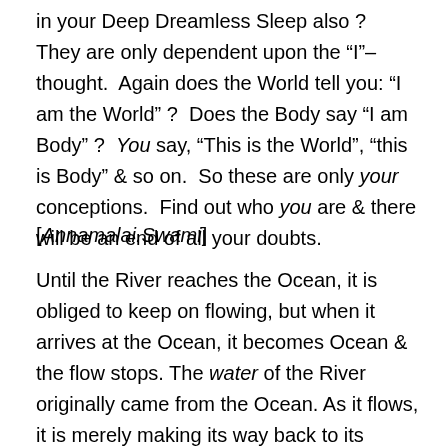in your Deep Dreamless Sleep also ?  They are only dependent upon the “I”–thought.  Again does the World tell you: “I am the World” ?  Does the Body say “I am Body” ?  You say, “This is the World”, “this is Body” & so on.  So these are only your conceptions.  Find out who you are & there will be an end of all your doubts.
[Annamalai.Swami]
Until the River reaches the Ocean, it is obliged to keep on flowing, but when it arrives at the Ocean, it becomes Ocean & the flow stops. The water of the River originally came from the Ocean. As it flows, it is merely making its way back to its Source. When you meditate or do sadhana, you are flowing back to the Source from which you came. After you have reached that Source, you discover that everything  that exists –  World, Guru, Mind –